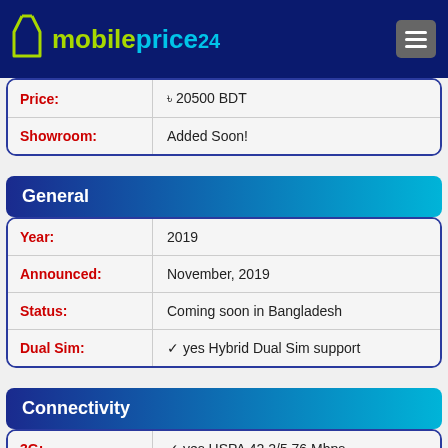mobileprice24
| Field | Value |
| --- | --- |
| Price: | ৳ 20500 BDT |
| Showroom: | Added Soon! |
General
| Field | Value |
| --- | --- |
| Year: | 2019 |
| Announced: | November, 2019 |
| Status: | Coming soon in Bangladesh |
| Dual Sim: | ✓ yes Hybrid Dual Sim support |
Connectivity
| Field | Value |
| --- | --- |
| 3G: | ✓ yes HSPA 42.2/5.76 Mbps |